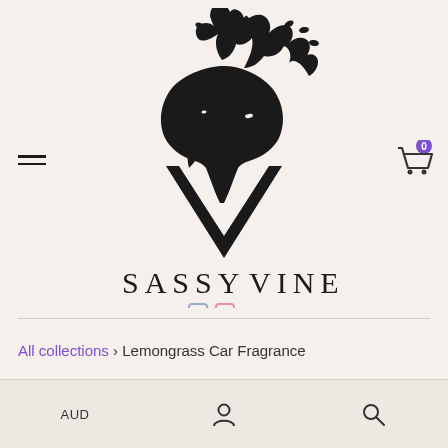[Figure (logo): Sassy Vine logo: a black stylized deer/stag with antlers made of branches and leaves, combined with a large V shape and a smaller animal silhouette. Text reads SASSY VINE in spaced serif capitals.]
All collections › Lemongrass Car Fragrance
AUD | person icon | search icon